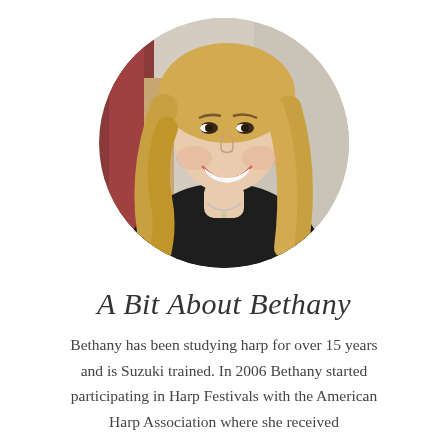[Figure (photo): Circular portrait photo of a smiling blonde woman wearing a black lace outfit and a necklace, seated near a harp in an indoor setting.]
A Bit About Bethany
Bethany has been studying harp for over 15 years and is Suzuki trained. In 2006 Bethany started participating in Harp Festivals with the American Harp Association where she received